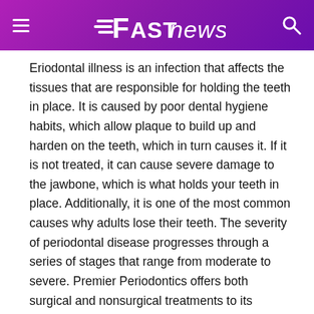FAST news
Eriodontal illness is an infection that affects the tissues that are responsible for holding the teeth in place. It is caused by poor dental hygiene habits, which allow plaque to build up and harden on the teeth, which in turn causes it. If it is not treated, it can cause severe damage to the jawbone, which is what holds your teeth in place. Additionally, it is one of the most common causes why adults lose their teeth. The severity of periodontal disease progresses through a series of stages that range from moderate to severe. Premier Periodontics offers both surgical and nonsurgical treatments to its patients in order to best serve their needs. To schedule an appointment with one of our qualified periodontists at one of our convenient sites in Bellevue, Everett, Kent, Kirkland